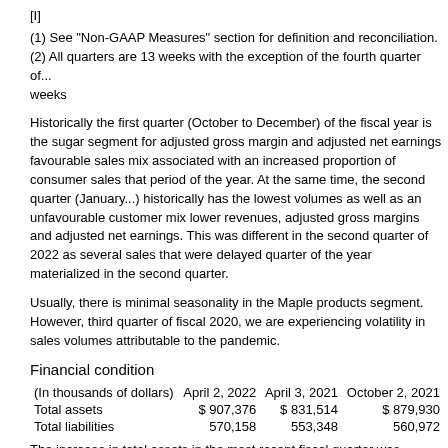[I]
(1) See "Non-GAAP Measures" section for definition and reconciliation.
(2) All quarters are 13 weeks with the exception of the fourth quarter of ... weeks
Historically the first quarter (October to December) of the fiscal year is the sugar segment for adjusted gross margin and adjusted net earnings favourable sales mix associated with an increased proportion of consumer sales that period of the year. At the same time, the second quarter (January...) historically has the lowest volumes as well as an unfavourable customer mix lower revenues, adjusted gross margins and adjusted net earnings. This was different in the second quarter of 2022 as several sales that were delayed quarter of the year materialized in the second quarter.
Usually, there is minimal seasonality in the Maple products segment. However, third quarter of fiscal 2020, we are experiencing volatility in sales volumes attributable to the pandemic.
Financial condition
| (In thousands of dollars) | April 2, 2022 | April 3, 2021 | October 2, 2021 |
| --- | --- | --- | --- |
| Total assets | $ 907,376 | $ 831,514 | $ 879,930 |
| Total liabilities | 570,158 | 553,348 | 560,972 |
The increase in total assets in the most recent fiscal quarter was...